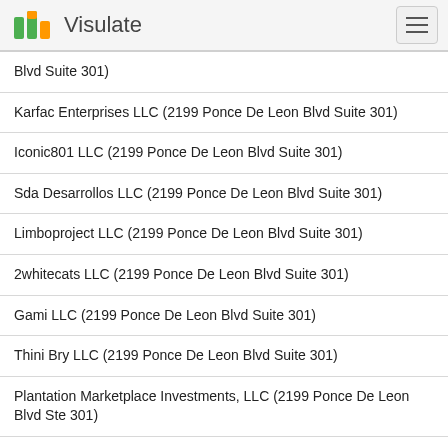Visulate
Blvd Suite 301)
Karfac Enterprises LLC (2199 Ponce De Leon Blvd Suite 301)
Iconic801 LLC (2199 Ponce De Leon Blvd Suite 301)
Sda Desarrollos LLC (2199 Ponce De Leon Blvd Suite 301)
Limboproject LLC (2199 Ponce De Leon Blvd Suite 301)
2whitecats LLC (2199 Ponce De Leon Blvd Suite 301)
Gami LLC (2199 Ponce De Leon Blvd Suite 301)
Thini Bry LLC (2199 Ponce De Leon Blvd Suite 301)
Plantation Marketplace Investments, LLC (2199 Ponce De Leon Blvd Ste 301)
Victoria Gardens Of Hollywood LLC (2199 Ponce De Leon Blvd...